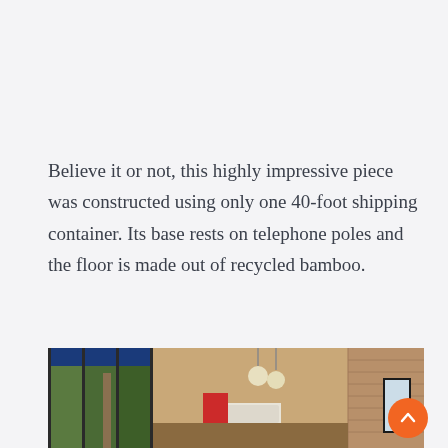Believe it or not, this highly impressive piece was constructed using only one 40-foot shipping container. Its base rests on telephone poles and the floor is made out of recycled bamboo.
[Figure (photo): Interior photo of a shipping container home showing large glass sliding doors opening to tropical trees, a wooden-paneled wall, pendant light fixture on warm ceiling, wall-mounted air conditioning unit, red accent wall with door, and framed artwork visible on right side.]